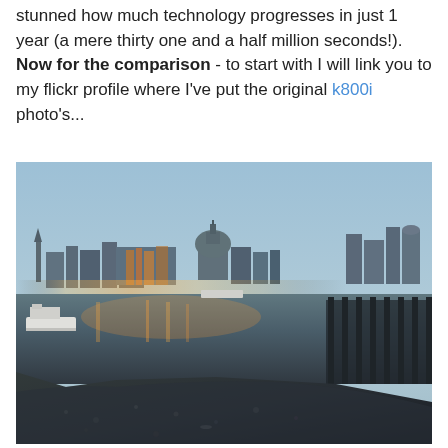stunned how much technology progresses in just 1 year (a mere thirty one and a half million seconds!). Now for the comparison - to start with I will link you to my flickr profile where I've put the original k800i photo's...
[Figure (photo): Evening photograph of the London skyline taken from the South Bank of the Thames. The cityscape shows illuminated buildings including St Paul's Cathedral dome, with orange/yellow lights reflecting on the dark river water. A sandy/rocky foreground riverbank is visible at low tide, wooden pier structures on the right, and a boat on the left. The sky is a dusky blue-grey.]